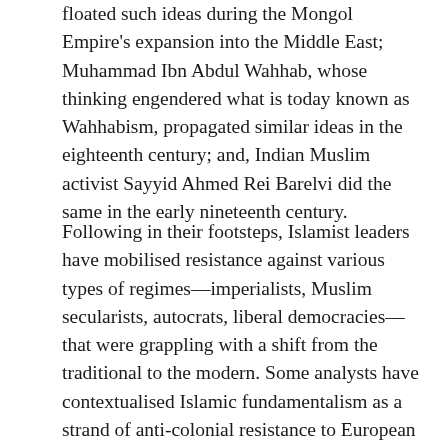floated such ideas during the Mongol Empire's expansion into the Middle East; Muhammad Ibn Abdul Wahhab, whose thinking engendered what is today known as Wahhabism, propagated similar ideas in the eighteenth century; and, Indian Muslim activist Sayyid Ahmed Rei Barelvi did the same in the early nineteenth century.
Following in their footsteps, Islamist leaders have mobilised resistance against various types of regimes—imperialists, Muslim secularists, autocrats, liberal democracies—that were grappling with a shift from the traditional to the modern. Some analysts have contextualised Islamic fundamentalism as a strand of anti-colonial resistance to European expansion into territories previously held by the Ottoman Empire which began after the Enlightenment. In Al-Qaeda and What it Means to be Modern, John Gray points out, for